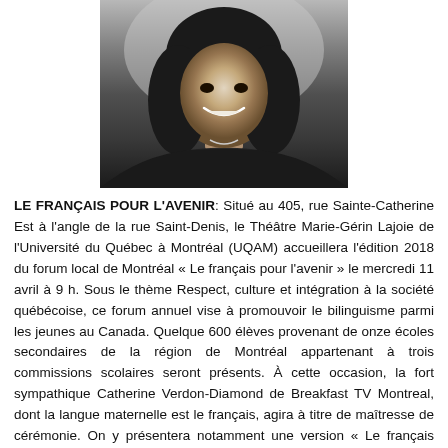[Figure (photo): Black and white headshot portrait of a smiling woman with long dark hair, centered at the top of the page.]
LE FRANÇAIS POUR L'AVENIR: Situé au 405, rue Sainte-Catherine Est à l'angle de la rue Saint-Denis, le Théâtre Marie-Gérin Lajoie de l'Université du Québec à Montréal (UQAM) accueillera l'édition 2018 du forum local de Montréal « Le français pour l'avenir » le mercredi 11 avril à 9 h. Sous le thème Respect, culture et intégration à la société québécoise, ce forum annuel vise à promouvoir le bilinguisme parmi les jeunes au Canada. Quelque 600 élèves provenant de onze écoles secondaires de la région de Montréal appartenant à trois commissions scolaires seront présents. À cette occasion, la fort sympathique Catherine Verdon-Diamond de Breakfast TV Montreal, dont la langue maternelle est le français, agira à titre de maîtresse de cérémonie. On y présentera notamment une version « Le français pour l'avenir » de l'émission La Voix